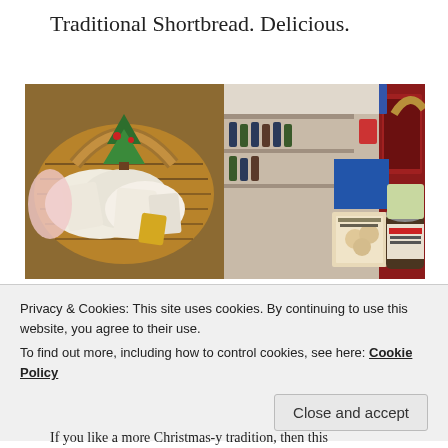Traditional Shortbread. Delicious.
[Figure (photo): Two side-by-side photos: left shows a wicker basket filled with white tissue-wrapped gifts and a small Christmas tree decoration; right shows a deli/shop interior with shelves of bottles and products including crackers for cheese and a jar of fig chutney.]
Privacy & Cookies: This site uses cookies. By continuing to use this website, you agree to their use.
To find out more, including how to control cookies, see here: Cookie Policy
Close and accept
If you like a more Christmas-y tradition, then this